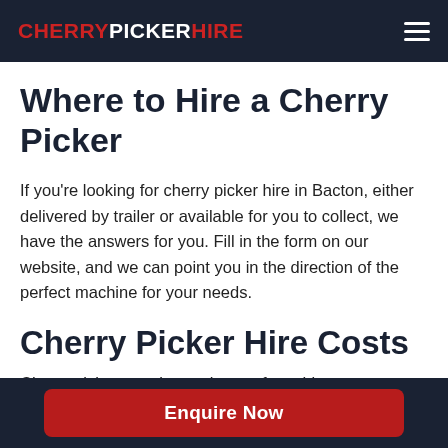CHERRYPICKERHIRE
Where to Hire a Cherry Picker
If you're looking for cherry picker hire in Bacton, either delivered by trailer or available for you to collect, we have the answers for you. Fill in the form on our website, and we can point you in the direction of the perfect machine for your needs.
Cherry Picker Hire Costs
Cherry pickers are large pieces of machinery
Enquire Now